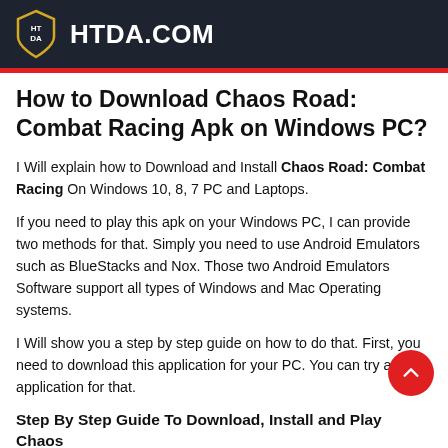HTDA.COM
How to Download Chaos Road: Combat Racing Apk on Windows PC?
I Will explain how to Download and Install Chaos Road: Combat Racing On Windows 10, 8, 7 PC and Laptops.
If you need to play this apk on your Windows PC, I can provide two methods for that. Simply you need to use Android Emulators such as BlueStacks and Nox. Those two Android Emulators Software support all types of Windows and Mac Operating systems.
I Will show you a step by step guide on how to do that. First, you need to download this application for your PC. You can try any application for that.
Step By Step Guide To Download, Install and Play Chaos